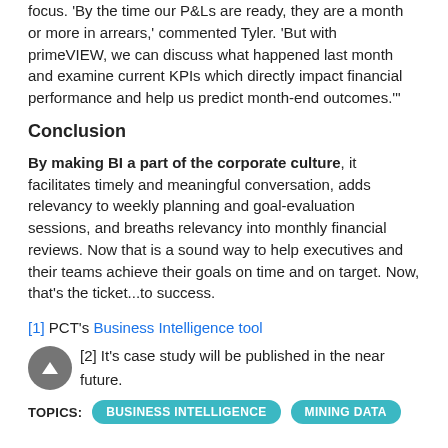focus. 'By the time our P&Ls are ready, they are a month or more in arrears,' commented Tyler. 'But with primeVIEW, we can discuss what happened last month and examine current KPIs which directly impact financial performance and help us predict month-end outcomes.'"
Conclusion
By making BI a part of the corporate culture, it facilitates timely and meaningful conversation, adds relevancy to weekly planning and goal-evaluation sessions, and breaths relevancy into monthly financial reviews. Now that is a sound way to help executives and their teams achieve their goals on time and on target. Now, that's the ticket...to success.
[1] PCT's Business Intelligence tool
[2] It's case study will be published in the near future.
TOPICS: BUSINESS INTELLIGENCE   MINING DATA